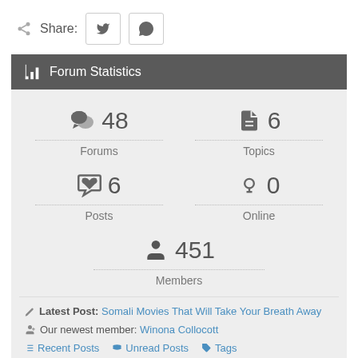Share:
[Figure (infographic): Forum Statistics widget showing: Forums 48, Topics 6, Posts 6, Online 0, Members 451. Latest Post: Somali Movies That Will Take Your Breath Away. Our newest member: Winona Collocott. Links: Recent Posts, Unread Posts, Tags.]
Forum Statistics
48 Forums
6 Topics
6 Posts
0 Online
451 Members
Latest Post: Somali Movies That Will Take Your Breath Away
Our newest member: Winona Collocott
Recent Posts   Unread Posts   Tags